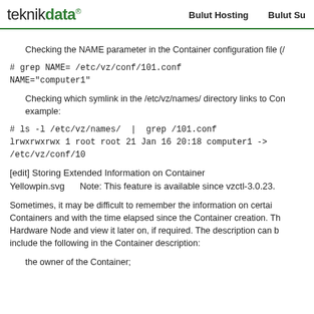teknikdata® Bulut Hosting Bulut Su
Checking the NAME parameter in the Container configuration file (/
# grep NAME= /etc/vz/conf/101.conf
NAME="computer1"
Checking which symlink in the /etc/vz/names/ directory links to Container, for example:
# ls -l /etc/vz/names/ | grep /101.conf
lrwxrwxrwx 1 root root 21 Jan 16 20:18 computer1 -> /etc/vz/conf/10
[edit] Storing Extended Information on Container
Yellowpin.svg    Note: This feature is available since vzctl-3.0.23.
Sometimes, it may be difficult to remember the information on certain Containers and with the time elapsed since the Container creation. Th Hardware Node and view it later on, if required. The description can b include the following in the Container description:
the owner of the Container;